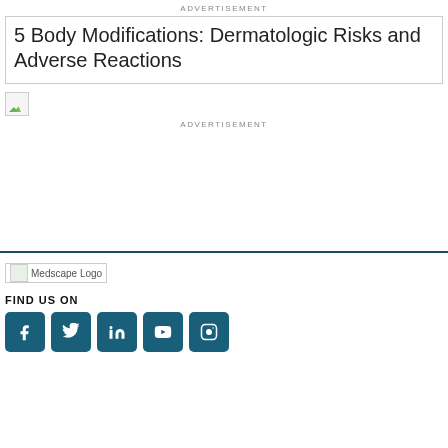ADVERTISEMENT
5 Body Modifications: Dermatologic Risks and Adverse Reactions
[Figure (other): Broken image placeholder icon]
ADVERTISEMENT
[Figure (logo): Medscape Logo]
FIND US ON
[Figure (other): Social media icons: Facebook, Twitter, LinkedIn, YouTube, Instagram]